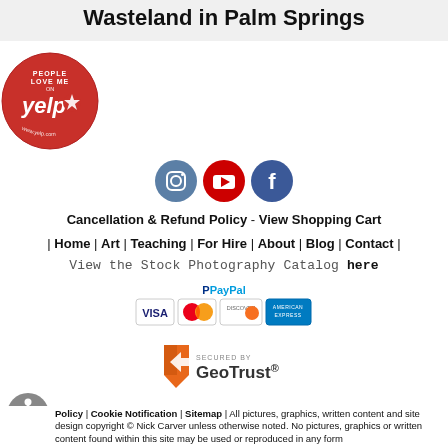Wasteland in Palm Springs
[Figure (logo): Yelp badge: People Love Me On Yelp circle logo]
[Figure (logo): Social media icons: Instagram, YouTube, Facebook]
Cancellation & Refund Policy - View Shopping Cart
| Home | Art | Teaching | For Hire | About | Blog | Contact |
View the Stock Photography Catalog here
[Figure (logo): PayPal and credit card logos: Visa, MasterCard, Discover, American Express]
[Figure (logo): Secured by GeoTrust badge]
Policy | Cookie Notification | Sitemap | All pictures, graphics, written content and site design copyright © Nick Carver unless otherwise noted. No pictures, graphics or written content found within this site may be used or reproduced in any form